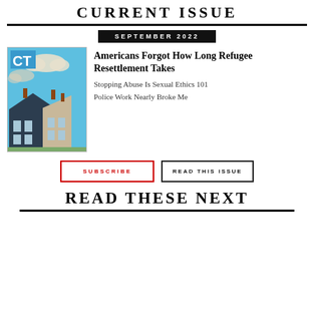CURRENT ISSUE
SEPTEMBER 2022
[Figure (photo): CT magazine cover for September 2022, illustration of a house with blue sky and clouds]
Americans Forgot How Long Refugee Resettlement Takes
Stopping Abuse Is Sexual Ethics 101
Police Work Nearly Broke Me
SUBSCRIBE
READ THIS ISSUE
READ THESE NEXT